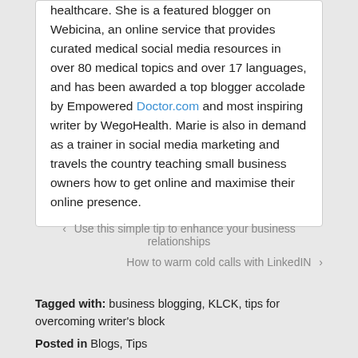healthcare. She is a featured blogger on Webicina, an online service that provides curated medical social media resources in over 80 medical topics and over 17 languages, and has been awarded a top blogger accolade by Empowered Doctor.com and most inspiring writer by WegoHealth. Marie is also in demand as a trainer in social media marketing and travels the country teaching small business owners how to get online and maximise their online presence.
‹ Use this simple tip to enhance your business relationships
How to warm cold calls with LinkedIN ›
Tagged with: business blogging, KLCK, tips for overcoming writer's block
Posted in Blogs, Tips